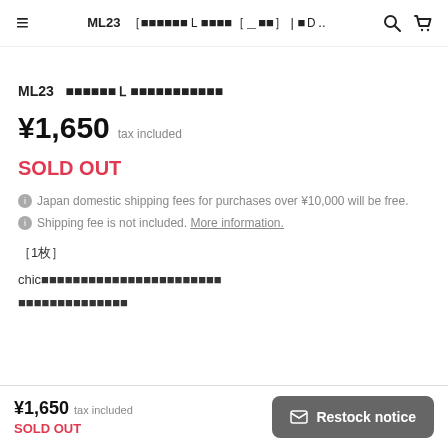ML23  ［Japanese text］L［Japanese text］| ［Japanese text］..
ML23  ［Japanese text］L［Japanese text］
¥1,650  tax included
SOLD OUT
Japan domestic shipping fees for purchases over ¥10,000 will be free.
Shipping fee is not included. More information.
［1枚］
chic［Japanese text］
［Japanese text］
¥1,650  tax included  SOLD OUT  Restock notice